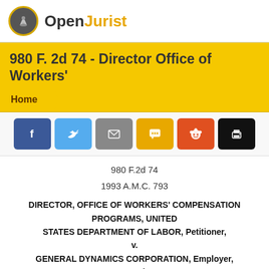OpenJurist
980 F. 2d 74 - Director Office of Workers'
Home
Social share buttons: Facebook, Twitter, Email, SMS, Reddit, Print
980 F.2d 74
1993 A.M.C. 793
DIRECTOR, OFFICE OF WORKERS' COMPENSATION PROGRAMS, UNITED STATES DEPARTMENT OF LABOR, Petitioner, v. GENERAL DYNAMICS CORPORATION, Employer, Respondent, and Harold Lockhart, Claimant, Respondent.